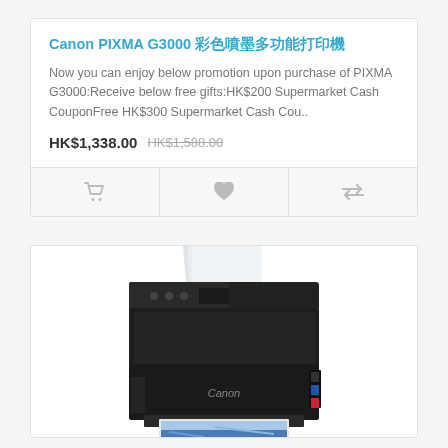Canon PIXMA G3000 彩色噴墨多功能打印機
Now you can enjoy below promotion upon purchase of PIXMA G3000:Receive below free gifts:HK$200 Supermarket Cash CouponFree HK$300 Supermarket Cash Cou..
HK$1,338.00   HK$1,588.00
[Figure (screenshot): Canon PIXMA G3000 all-in-one inkjet printer product photo showing the printer with paper feeder, ink tanks visible on the side (black, blue, red colors), and printed photo coming out of the front tray. Canon logo visible on the front.]